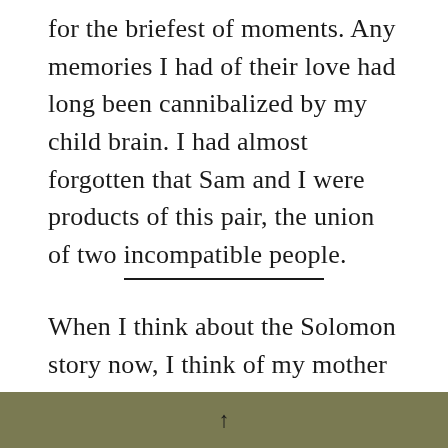for the briefest of moments. Any memories I had of their love had long been cannibalized by my child brain. I had almost forgotten that Sam and I were products of this pair, the union of two incompatible people.
When I think about the Solomon story now, I think of my mother and stepmother, and their bitter showdowns
↑